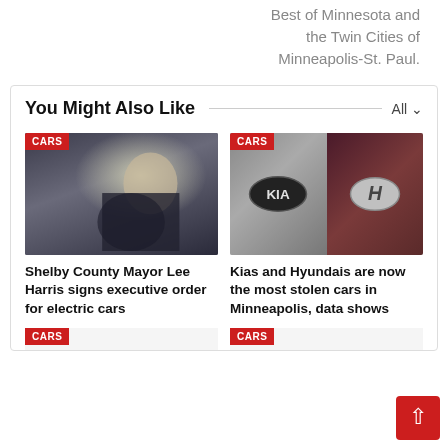Best of Minnesota and the Twin Cities of Minneapolis-St. Paul.
You Might Also Like
[Figure (photo): Person sitting in driver's seat of a vehicle with CARS badge]
Shelby County Mayor Lee Harris signs executive order for electric cars
[Figure (photo): KIA and Hyundai car logos side by side with CARS badge]
Kias and Hyundais are now the most stolen cars in Minneapolis, data shows